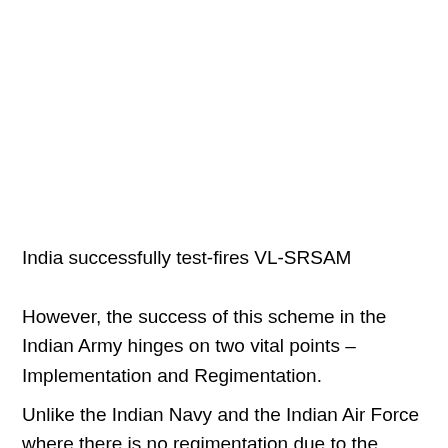India successfully test-fires VL-SRSAM
However, the success of this scheme in the Indian Army hinges on two vital points – Implementation and Regimentation.
Unlike the Indian Navy and the Indian Air Force where there is no regimentation due to the highly